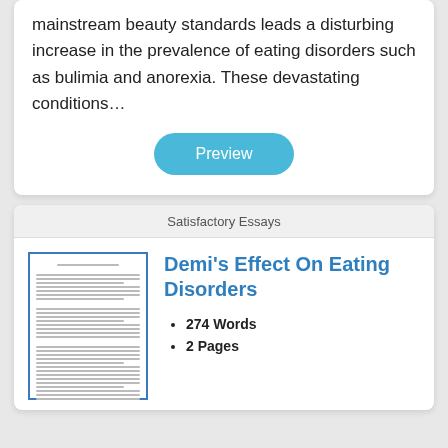mainstream beauty standards leads a disturbing increase in the prevalence of eating disorders such as bulimia and anorexia. These devastating conditions…
[Figure (other): Preview button — rounded blue pill button with white text 'Preview']
Satisfactory Essays
[Figure (other): Thumbnail preview image of a document page with text lines]
Demi's Effect On Eating Disorders
274 Words
2 Pages